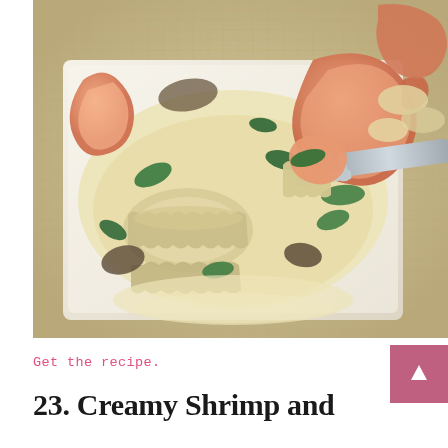[Figure (photo): Close-up photo of a creamy shrimp and ravioli dish on a white plate. Large shrimp and pasta ravioli are coated in a creamy white sauce with sautéed spinach and mushrooms. A fork is lifting a shrimp and ravioli piece. The plate sits on a woven placemat.]
Get the recipe.
23. Creamy Shrimp and